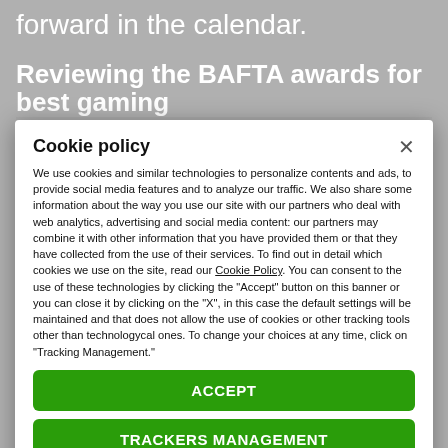forward in the calendar.
Reviewing the BAFTA awards for best gaming...
Cookie policy
We use cookies and similar technologies to personalize contents and ads, to provide social media features and to analyze our traffic. We also share some information about the way you use our site with our partners who deal with web analytics, advertising and social media content: our partners may combine it with other information that you have provided them or that they have collected from the use of their services. To find out in detail which cookies we use on the site, read our Cookie Policy. You can consent to the use of these technologies by clicking the "Accept" button on this banner or you can close it by clicking on the "X", in this case the default settings will be maintained and that does not allow the use of cookies or other tracking tools other than technologycal ones. To change your choices at any time, click on “Tracking Management.”
ACCEPT
TRACKERS MANAGEMENT
Show vendors | Show purposes